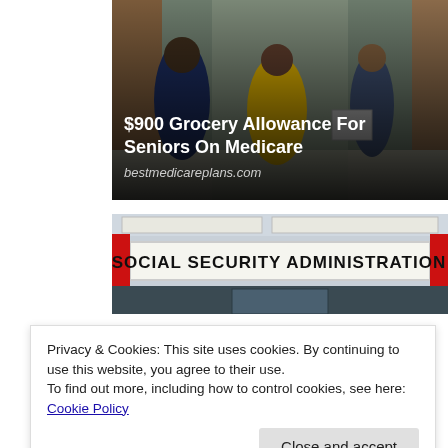[Figure (photo): Advertisement image showing elderly people shopping in a grocery store, with overlay text reading '$900 Grocery Allowance For Seniors On Medicare' and source 'bestmedicareplans.com']
[Figure (photo): Photo of a Social Security Administration building sign reading 'SOCIAL SECURITY ADMINISTRATION' with red vertical bars on either side]
Privacy & Cookies: This site uses cookies. By continuing to use this website, you agree to their use.
To find out more, including how to control cookies, see here: Cookie Policy